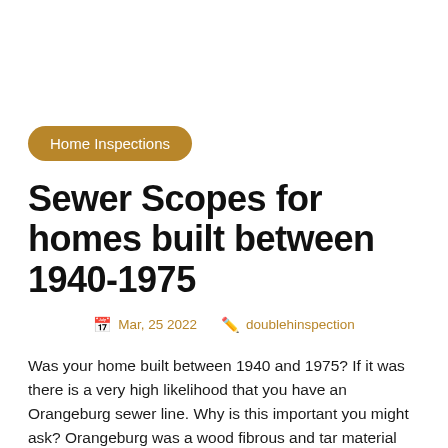Home Inspections
Sewer Scopes for homes built between 1940-1975
📅 Mar, 25 2022   ✏️ doublehinspection
Was your home built between 1940 and 1975? If it was there is a very high likelihood that you have an Orangeburg sewer line. Why is this important you might ask? Orangeburg was a wood fibrous and tar material that was brought to prominence after World War 2 when metal was in short supply. This [...]